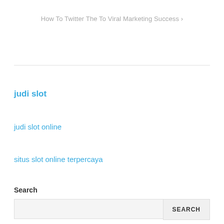How To Twitter The To Viral Marketing Success >
judi slot
judi slot online
situs slot online terpercaya
Search